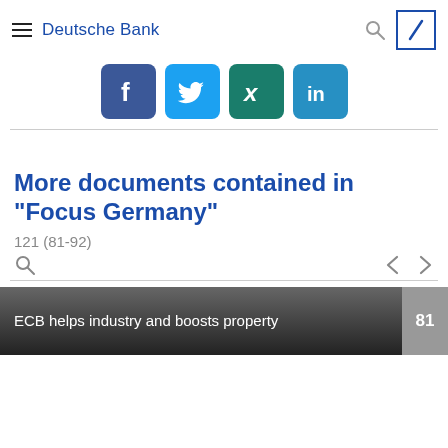Deutsche Bank
[Figure (other): Social media icons: Facebook, Twitter, Xing, LinkedIn]
More documents contained in "Focus Germany"
121 (81-92)
ECB helps industry and boosts property 81